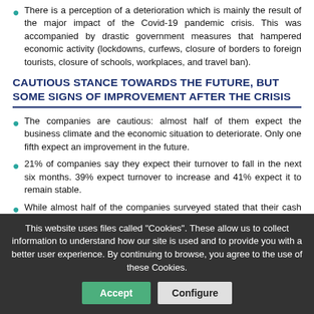There is a perception of a deterioration which is mainly the result of the major impact of the Covid-19 pandemic crisis. This was accompanied by drastic government measures that hampered economic activity (lockdowns, curfews, closure of borders to foreign tourists, closure of schools, workplaces, and travel ban).
CAUTIOUS STANCE TOWARDS THE FUTURE, BUT SOME SIGNS OF IMPROVEMENT AFTER THE CRISIS
The companies are cautious: almost half of them expect the business climate and the economic situation to deteriorate. Only one fifth expect an improvement in the future.
21% of companies say they expect their turnover to fall in the next six months. 39% expect turnover to increase and 41% expect it to remain stable.
While almost half of the companies surveyed stated that their cash flow had decreased over the last six months, only 22% of them expect it to decrease over the next six months.
The surveyed companies believe that this improvement in the
This website uses files called "Cookies". These allow us to collect information to understand how our site is used and to provide you with a better user experience. By continuing to browse, you agree to the use of these Cookies.